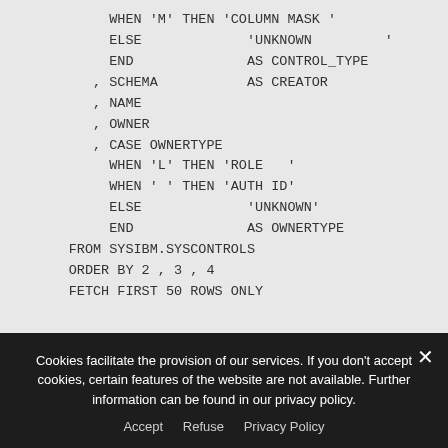WHEN 'M' THEN 'COLUMN MASK '
            ELSE             'UNKNOWN         '
            END              AS CONTROL_TYPE
          , SCHEMA           AS CREATOR
          , NAME
          , OWNER
          , CASE OWNERTYPE
            WHEN 'L' THEN 'ROLE   '
            WHEN ' ' THEN 'AUTH ID'
            ELSE             'UNKNOWN'
            END              AS OWNERTYPE
       FROM SYSIBM.SYSCONTROLS
       ORDER BY 2 , 3 , 4
       FETCH FIRST 50 ROWS ONLY
Cookies facilitate the provision of our services. If you don't accept cookies, certain features of the website are not available. Further information can be found in our privacy policy.